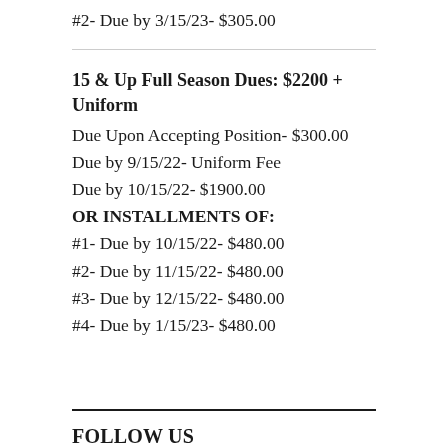#2- Due by 3/15/23- $305.00
15 & Up Full Season Dues: $2200 + Uniform
Due Upon Accepting Position- $300.00
Due by 9/15/22- Uniform Fee
Due by 10/15/22- $1900.00
OR INSTALLMENTS OF:
#1- Due by 10/15/22- $480.00
#2- Due by 11/15/22- $480.00
#3- Due by 12/15/22- $480.00
#4- Due by 1/15/23- $480.00
FOLLOW US